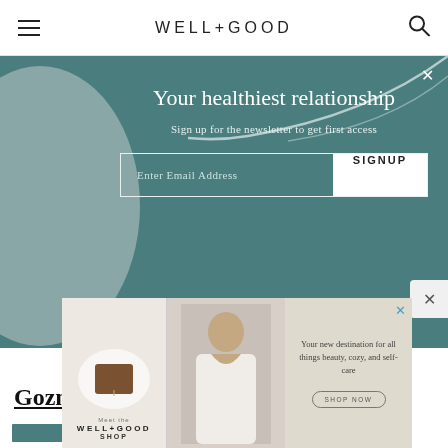WELL+GOOD
[Figure (screenshot): Newsletter signup modal with teal background, decorative circles and curved line, email input field and SIGNUP button]
Photo: Gozney
Gozney Dome — $1,799.00
[Figure (screenshot): Well+Good Shop advertisement banner with three panels: product on plate, person photo, and tagline 'Your new destination for all things beauty, cozy, and self-care' with SHOP NOW button]